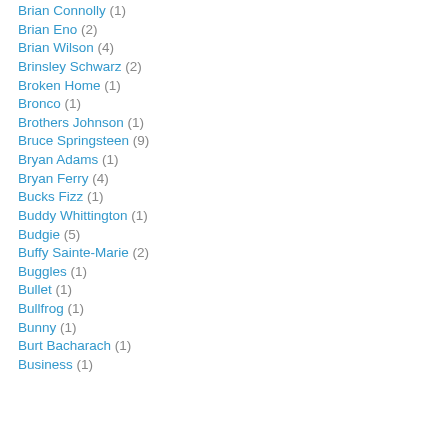Brian Connolly (1)
Brian Eno (2)
Brian Wilson (4)
Brinsley Schwarz (2)
Broken Home (1)
Bronco (1)
Brothers Johnson (1)
Bruce Springsteen (9)
Bryan Adams (1)
Bryan Ferry (4)
Bucks Fizz (1)
Buddy Whittington (1)
Budgie (5)
Buffy Sainte-Marie (2)
Buggles (1)
Bullet (1)
Bullfrog (1)
Bunny (1)
Burt Bacharach (1)
Business (1)